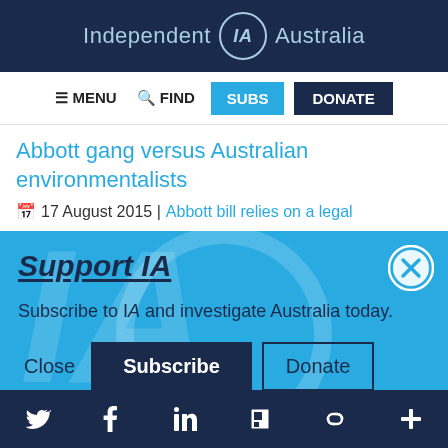Independent IA Australia
≡ MENU  🔍 FIND  SUBS  DONATE
Abbott gang versus Australian environmentalists
📅 17 August 2015 | Abbott bill relies on a legal
[Figure (screenshot): Support IA subscription modal overlay on blue background with watermark IA logo, close button, description text 'Subscribe to IA and investigate Australia today.', and action buttons: Close, Subscribe, Donate]
Twitter Facebook LinkedIn Flipboard Link Plus social share bar